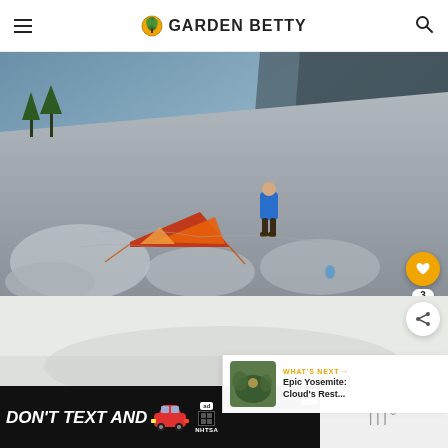Garden Betty
[Figure (photo): Person in blue jacket standing on rocky mountain terrain next to a red tent, with dramatic cliff and valley vista in the background. Yosemite-style landscape.]
[Figure (photo): Second photo area showing a lighter outdoor scene, partially visible.]
WHAT'S NEXT → Epic Yosemite: Cloud's Rest...
[Figure (screenshot): Advertisement banner: DON'T TEXT AND [car emoji] with NHTSA ad label and close button.]